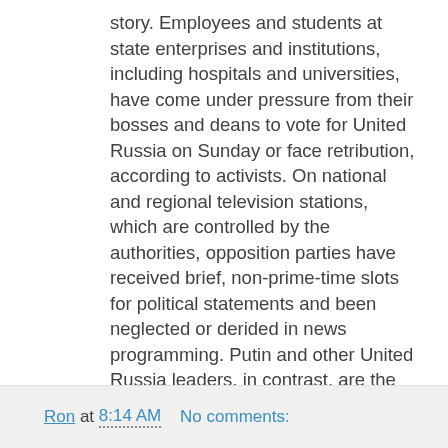story. Employees and students at state enterprises and institutions, including hospitals and universities, have come under pressure from their bosses and deans to vote for United Russia on Sunday or face retribution, according to activists. On national and regional television stations, which are controlled by the authorities, opposition parties have received brief, non-prime-time slots for political statements and been neglected or derided in news programming. Putin and other United Russia leaders, in contrast, are the subject of glowing reports. "There was no political campaign; there was only propaganda for United Russia," said Lilia Shibanova, director of Golos, a Russian private organization that monitors elections. "In all state media, there was huge preference and prevalence in coverage of United Russia. Any coverage of other parties was almost 100 percent entirely negative." ...
Ron at 8:14 AM    No comments: